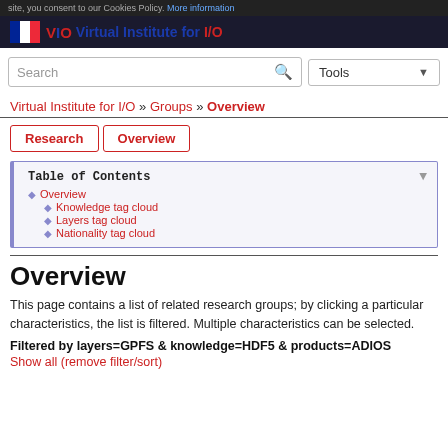site, you consent to our Cookies Policy. More information
Virtual Institute for I/O
Search
Tools
Virtual Institute for I/O » Groups » Overview
Research | Overview
| Table of Contents |
| --- |
| Overview |
| Knowledge tag cloud |
| Layers tag cloud |
| Nationality tag cloud |
Overview
This page contains a list of related research groups; by clicking a particular characteristics, the list is filtered. Multiple characteristics can be selected.
Filtered by layers=GPFS & knowledge=HDF5 & products=ADIOS
Show all (remove filter/sort)